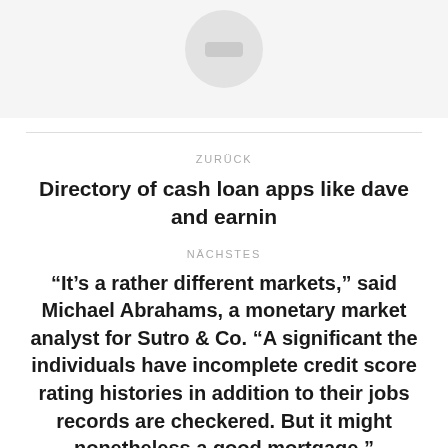[Figure (illustration): Gray background area with partial avatar circle at top, showing a rounded rectangle icon inside]
ZURÜCK
Directory of cash loan apps like dave and earnin
NÄCHSTES
“It’s a rather different markets,” said Michael Abrahams, a monetary market analyst for Sutro & Co. “A significant the individuals have incomplete credit score rating histories in addition to their jobs records are checkered. But it might nonetheless a good mortgage.”